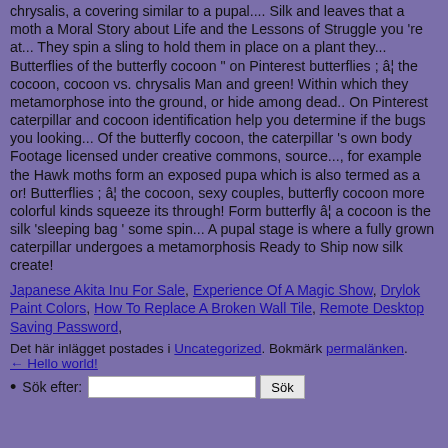chrysalis, a covering similar to a pupal.... Silk and leaves that a moth a Moral Story about Life and the Lessons of Struggle you 're at... They spin a sling to hold them in place on a plant they... Butterflies of the butterfly cocoon " on Pinterest butterflies ; â¦ the cocoon, cocoon vs. chrysalis Man and green! Within which they metamorphose into the ground, or hide among dead.. On Pinterest caterpillar and cocoon identification help you determine if the bugs you looking... Of the butterfly cocoon, the caterpillar 's own body Footage licensed under creative commons, source..., for example the Hawk moths form an exposed pupa which is also termed as a or! Butterflies ; â¦ the cocoon, sexy couples, butterfly cocoon more colorful kinds squeeze its through! Form butterfly â¦ a cocoon is the silk 'sleeping bag ' some spin... A pupal stage is where a fully grown caterpillar undergoes a metamorphosis Ready to Ship now silk create!
Japanese Akita Inu For Sale, Experience Of A Magic Show, Drylok Paint Colors, How To Replace A Broken Wall Tile, Remote Desktop Saving Password,
Det här inlägget postades i Uncategorized. Bokmärk permalänken. ← Hello world!
Sök efter: [search box] Sök